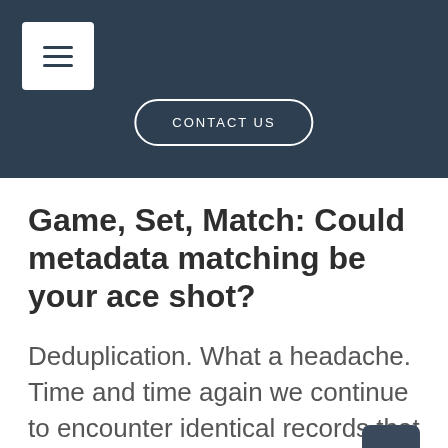☰ CONTACT US
Game, Set, Match: Could metadata matching be your ace shot?
Deduplication. What a headache. Time and time again we continue to encounter identical records that refuse to deduplicate. Some